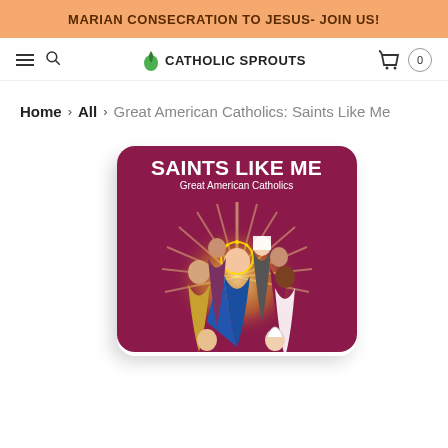MARIAN CONSECRATION TO JESUS- JOIN US!
[Figure (screenshot): Catholic Sprouts website navigation bar with hamburger menu, search icon, Catholic Sprouts logo with green leaf, and cart icon with 0 count]
Home > All > Great American Catholics: Saints Like Me
[Figure (illustration): Book cover for 'Saints Like Me: Great American Catholics' — maroon/purple cover with illustrated diverse group of saints and Mary in a radiant halo]